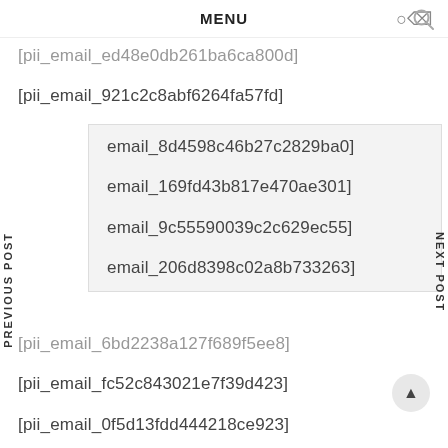MENU
[pii_email_ed48e0db261ba6ca800d]
[pii_email_921c2c8abf6264fa57fd]
[pii_email_8d4598c46b27c2829ba0]
[pii_email_169fd43b817e470ae301]
[pii_email_9c55590039c2c629ec55]
[pii_email_206d8398c02a8b733263]
[pii_email_6bd2238a127f689f5ee8]
[pii_email_fc52c843021e7f39d423]
[pii_email_0f5d13fdd444218ce923]